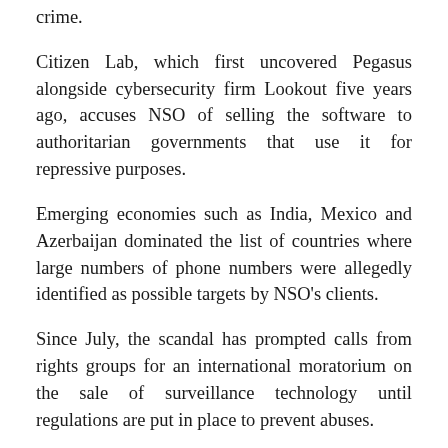crime.
Citizen Lab, which first uncovered Pegasus alongside cybersecurity firm Lookout five years ago, accuses NSO of selling the software to authoritarian governments that use it for repressive purposes.
Emerging economies such as India, Mexico and Azerbaijan dominated the list of countries where large numbers of phone numbers were allegedly identified as possible targets by NSO's clients.
Since July, the scandal has prompted calls from rights groups for an international moratorium on the sale of surveillance technology until regulations are put in place to prevent abuses.
That call was backed by United Nations human rights experts last month.
"It is highly dangerous and irresponsible to allow the